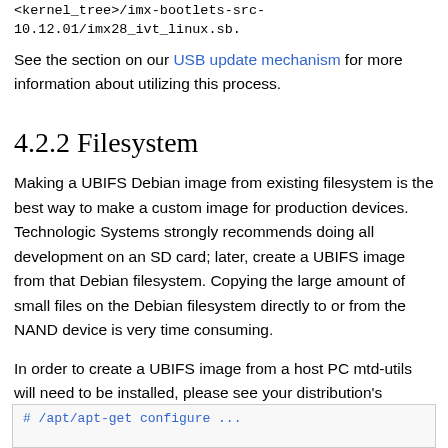<kernel_tree>/imx-bootlets-src-10.12.01/imx28_ivt_linux.sb.
See the section on our USB update mechanism for more information about utilizing this process.
4.2.2 Filesystem
Making a UBIFS Debian image from existing filesystem is the best way to make a custom image for production devices. Technologic Systems strongly recommends doing all development on an SD card; later, create a UBIFS image from that Debian filesystem. Copying the large amount of small files on the Debian filesystem directly to or from the NAND device is very time consuming.
In order to create a UBIFS image from a host PC mtd-utils will need to be installed, please see your distribution's documentation for instructions on installation
# /apt/apt-get configure ...